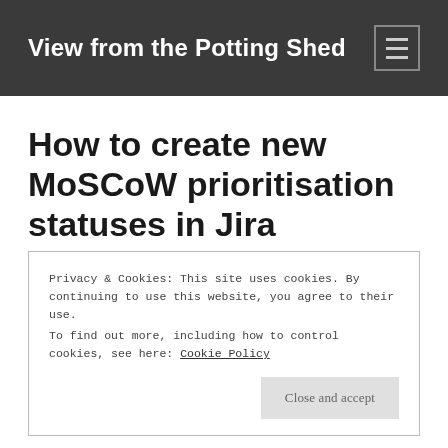View from the Potting Shed
How to create new MoSCoW prioritisation statuses in Jira
Privacy & Cookies: This site uses cookies. By continuing to use this website, you agree to their use.
To find out more, including how to control cookies, see here: Cookie Policy
Close and accept